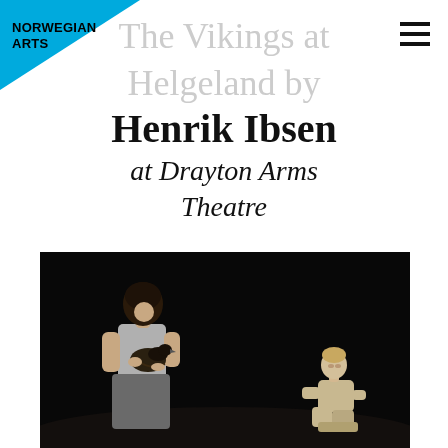NORWEGIAN ARTS
The Vikings at Helgeland by
Henrik Ibsen
at Drayton Arms Theatre
[Figure (photo): Theatre performance scene: a woman in grey shirt and skirt holding a dark bird, and a man crouching in the background on a dark stage]